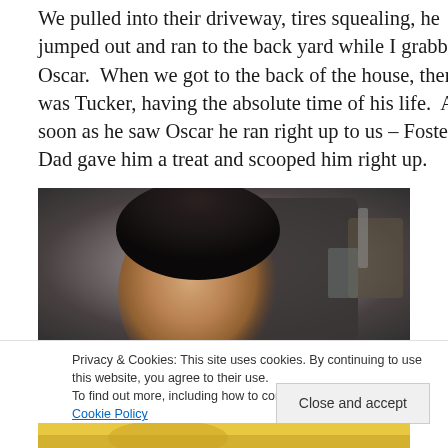We pulled into their driveway, tires squealing, he jumped out and ran to the back yard while I grabbed Oscar.  When we got to the back of the house, there was Tucker, having the absolute time of his life.  As soon as he saw Oscar he ran right up to us – Foster Dad gave him a treat and scooped him right up.
[Figure (photo): A photo of a person with dark hair with eyes closed, shown in a dark indoor setting]
Privacy & Cookies: This site uses cookies. By continuing to use this website, you agree to their use.
To find out more, including how to control cookies, see here: Cookie Policy
[Figure (photo): Partial view of a photo showing someone in a yellow shirt at the bottom of the page]